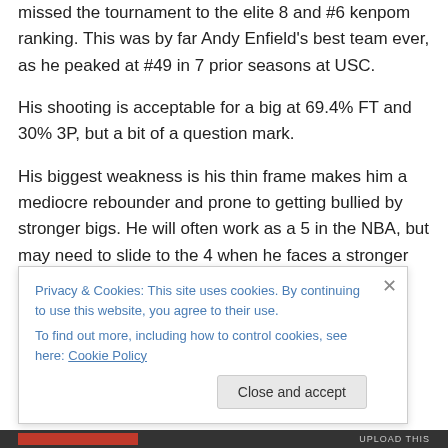missed the tournament to the elite 8 and #6 kenpom ranking. This was by far Andy Enfield's best team ever, as he peaked at #49 in 7 prior seasons at USC.
His shooting is acceptable for a big at 69.4% FT and 30% 3P, but a bit of a question mark.
His biggest weakness is his thin frame makes him a mediocre rebounder and prone to getting bullied by stronger bigs. He will often work as a 5 in the NBA, but may need to slide to the 4 when he faces a stronger big
Privacy & Cookies: This site uses cookies. By continuing to use this website, you agree to their use. To find out more, including how to control cookies, see here: Cookie Policy